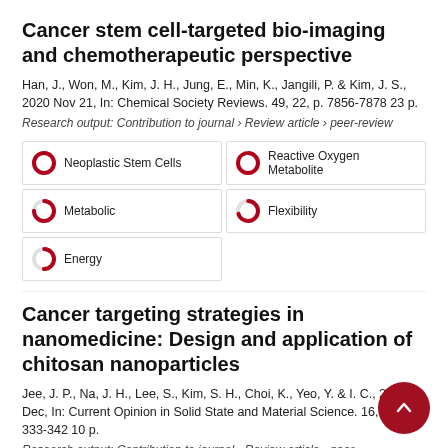Cancer stem cell-targeted bio-imaging and chemotherapeutic perspective
Han, J., Won, M., Kim, J. H., Jung, E., Min, K., Jangili, P. & Kim, J. S., 2020 Nov 21, In: Chemical Society Reviews. 49, 22, p. 7856-7878 23 p.
Research output: Contribution to journal › Review article › peer-review
[Figure (infographic): Keyword badges with circular donut-style coverage icons: Neoplastic Stem Cells (100%), Reactive Oxygen Metabolite (95%), Metabolic (75%), Flexibility (70%), Energy (50%)]
Cancer targeting strategies in nanomedicine: Design and application of chitosan nanoparticles
Jee, J. P., Na, J. H., Lee, S., Kim, S. H., Choi, K., Yeo, Y. & I. C., 2012 Dec, In: Current Opinion in Solid State and Material Science. 16, 6, p. 333-342 10 p.
Research output: Contribution to journal › Review article › peer-review